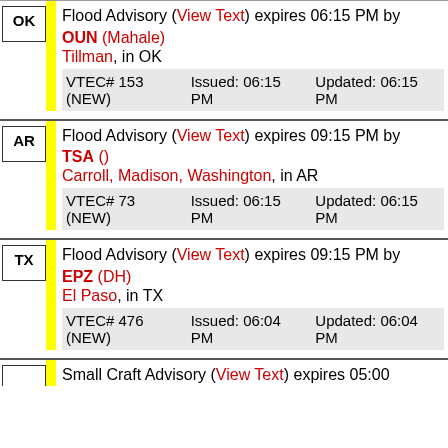Flood Advisory (View Text) expires 06:15 PM by OUN (Mahale) Tillman, in OK VTEC# 153 (NEW) Issued: 06:15 PM Updated: 06:15 PM
Flood Advisory (View Text) expires 09:15 PM by TSA () Carroll, Madison, Washington, in AR VTEC# 73 (NEW) Issued: 06:15 PM Updated: 06:15 PM
Flood Advisory (View Text) expires 09:15 PM by EPZ (DH) El Paso, in TX VTEC# 476 (NEW) Issued: 06:04 PM Updated: 06:04 PM
Small Craft Advisory (View Text) expires 05:00...